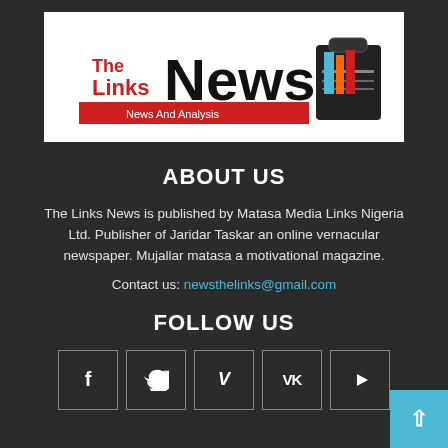[Figure (logo): The Links News logo - newspaper masthead with red and black text reading 'The Links News' and subtitle 'News And Analysis', with a bag/briefcase image on the right]
ABOUT US
The Links News is published by Matasa Media Links Nigeria Ltd. Publisher of Jaridar Taskar an online vernacular newspaper. Mujallar matasa a motivational magazine.
Contact us: newsthelinks@gmail.com
FOLLOW US
[Figure (infographic): Social media icons row: Facebook (f), Twitter (bird), Vimeo (V), VKontakte (VK), YouTube (play button) — each in a square outlined box]